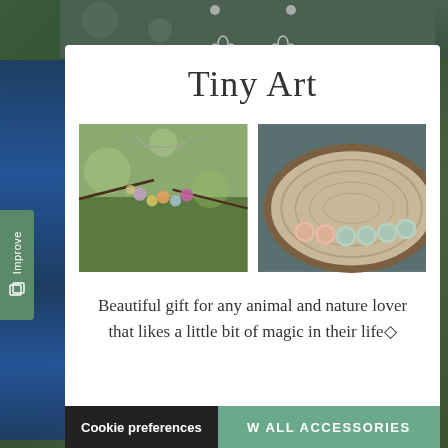Tiny Art
[Figure (photo): Two photos side by side: left shows a necklace with colorful charm pendants hanging from branches outdoors; right shows small round ceramic/clay buttons arranged on a wooden slice]
Beautiful gift for any animal and nature lover that likes a little bit of magic in their life◇
Cookie preferences
W ALL ACCESSORIES